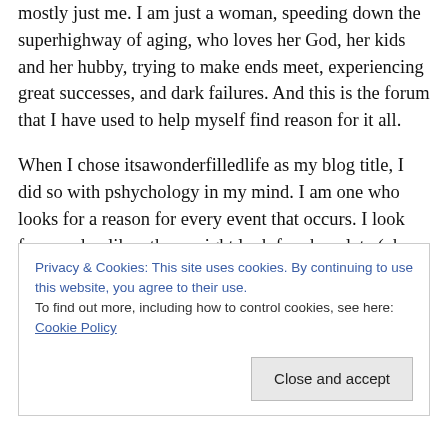mostly just me. I am just a woman, speeding down the superhighway of aging, who loves her God, her kids and her hubby, trying to make ends meet, experiencing great successes, and dark failures. And this is the forum that I have used to help myself find reason for it all.

When I chose itsawonderfilledlife as my blog title, I did so with pshychology in my mind. I am one who looks for a reason for every event that occurs. I look for wonder, like others might look for chocolate (okay, I look for that on a daily basis too), or luck, or a break. For me, when I can see wonder in my day, I can see purpose for living. For
Privacy & Cookies: This site uses cookies. By continuing to use this website, you agree to their use.
To find out more, including how to control cookies, see here: Cookie Policy
Close and accept